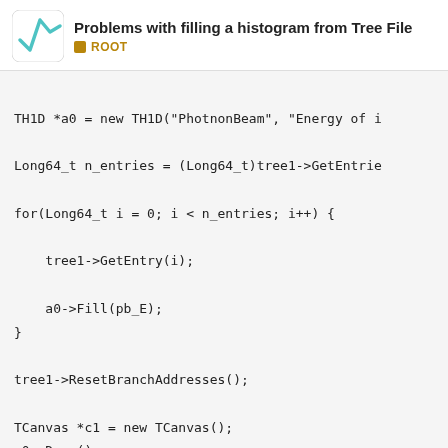Problems with filling a histogram from Tree File | ROOT
TH1D *a0 = new TH1D("PhotnonBeam", "Energy of i

Long64_t n_entries = (Long64_t)tree1->GetEntrie

for(Long64_t i = 0; i < n_entries; i++) {

    tree1->GetEntry(i);

    a0->Fill(pb_E);
}

tree1->ResetBranchAddresses();

TCanvas *c1 = new TCanvas();
a0->Draw();
}[/code]
I am having trouble uploading the .root file gigs and I've tried compressing it but that c